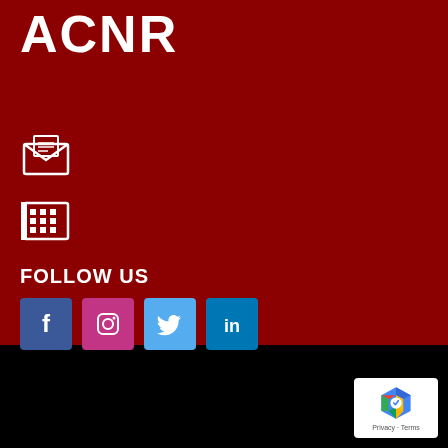ACNR
[Figure (other): Email icon (envelope with letter)]
[Figure (other): Fax/phone icon]
FOLLOW US
[Figure (other): Social media icons: Facebook, Instagram, Twitter, LinkedIn]
[Figure (other): reCAPTCHA badge with Privacy - Terms text]